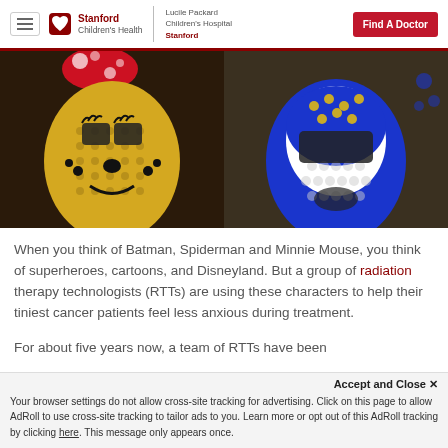Stanford Children's Health | Lucite Packard Children's Hospital Stanford | Find A Doctor
[Figure (photo): Two radiation therapy masks side by side: left mask decorated as Minnie Mouse (yellow with black polka-dot bow, painted face), right mask decorated in blue and white with colorful dots pattern.]
When you think of Batman, Spiderman and Minnie Mouse, you think of superheroes, cartoons, and Disneyland. But a group of radiation therapy technologists (RTTs) are using these characters to help their tiniest cancer patients feel less anxious during treatment.
For about five years now, a team of RTTs have been
Accept and Close ✕
Your browser settings do not allow cross-site tracking for advertising. Click on this page to allow AdRoll to use cross-site tracking to tailor ads to you. Learn more or opt out of this AdRoll tracking by clicking here. This message only appears once.